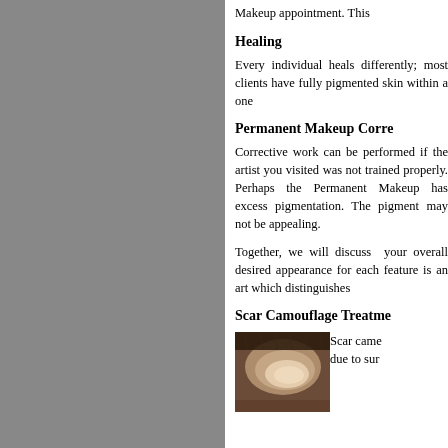Makeup appointment. This
Healing
Every individual heals di... pigmented skin within a one...
Permanent Makeup Corre...
Corrective work can be per... artist you visited was not tr... Perhaps the Permanent Ma... pigmentation. The pigment... appealing.
Together, we will discuss... overall desired appearance... feature is an art which disti...
Scar Camouflage Treatme...
[Figure (photo): Close-up photo of a scar or skin area for camouflage treatment illustration]
Scar came... due to sur...